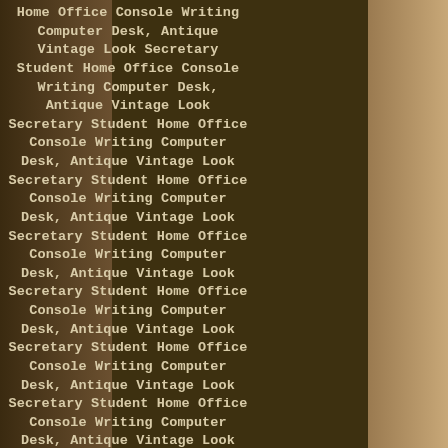[Figure (photo): Product listing image showing a dark brown antique-style writing desk background with repeating text overlay. The text reads: 'Home Office Console Writing Computer Desk, Antique Vintage Look Secretary Student Home Office Console Writing Computer Desk, Antique Vintage Look Secretary Student Home Office Console Writing Computer Desk...' repeated multiple times in monospace font on a dark brown panel, flanked by wooden desk surfaces on left and right.]